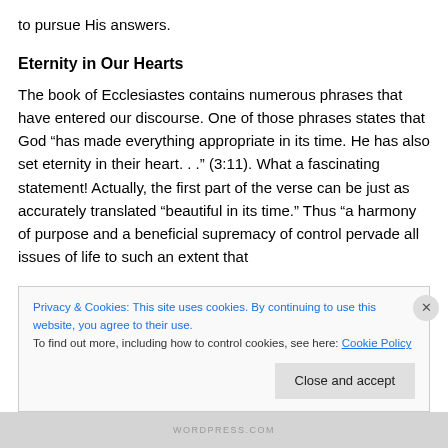to pursue His answers.
Eternity in Our Hearts
The book of Ecclesiastes contains numerous phrases that have entered our discourse. One of those phrases states that God “has made everything appropriate in its time. He has also set eternity in their heart. . .” (3:11). What a fascinating statement! Actually, the first part of the verse can be just as accurately translated “beautiful in its time.” Thus “a harmony of purpose and a beneficial supremacy of control pervade all issues of life to such an extent that
Privacy & Cookies: This site uses cookies. By continuing to use this website, you agree to their use.
To find out more, including how to control cookies, see here: Cookie Policy
Close and accept